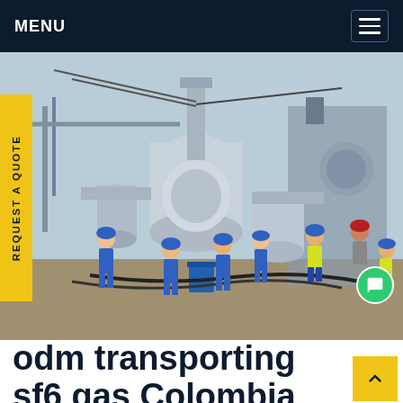MENU
[Figure (photo): Workers in blue coveralls and hard hats working around large industrial gas equipment/transformers at an outdoor substation or industrial facility in Colombia. Multiple workers visible with safety gear. Large grey cylindrical equipment prominent in center. Industrial piping, tanks and structures visible in background.]
odm transporting sf6 gas Colombia